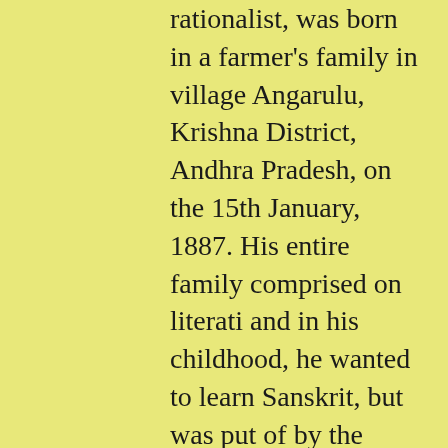rationalist, was born in a farmer's family in village Angarulu, Krishna District, Andhra Pradesh, on the 15th January, 1887. His entire family comprised on literati and in his childhood, he wanted to learn Sanskrit, but was put of by the traditonal pandits. Shri Ramaswamy's zeal and quest led him to the study of sanskrit and to a very thorough understanding and critical study and analysis of the Vedas, Upanishads, Puranas and Itihaas. He concluded that he decadence of hindu society was due to